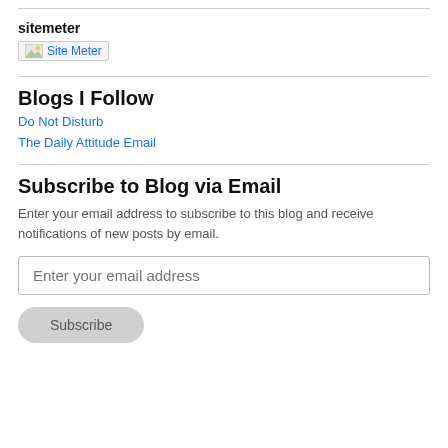sitemeter
[Figure (illustration): Site Meter broken image placeholder with alt text 'Site Meter']
Blogs I Follow
Do Not Disturb
The Daily Attitude Email
Subscribe to Blog via Email
Enter your email address to subscribe to this blog and receive notifications of new posts by email.
Enter your email address
Subscribe